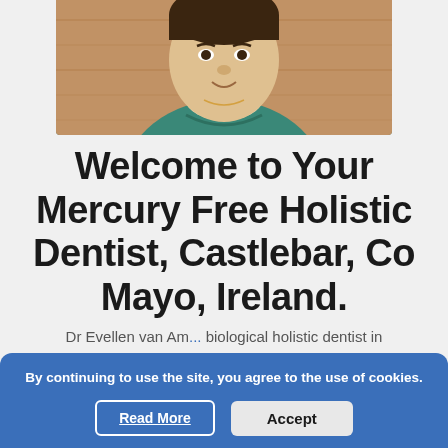[Figure (photo): Portrait photo of a dentist in teal/blue scrubs against a wooden background, photo is cropped at the top]
Welcome to Your Mercury Free Holistic Dentist, Castlebar, Co Mayo, Ireland.
Dr Evellen van Am... biological holistic dentist in Castlebar, Co Mayo practicing as a mercury free dentist since
By continuing to use the site, you agree to the use of cookies.